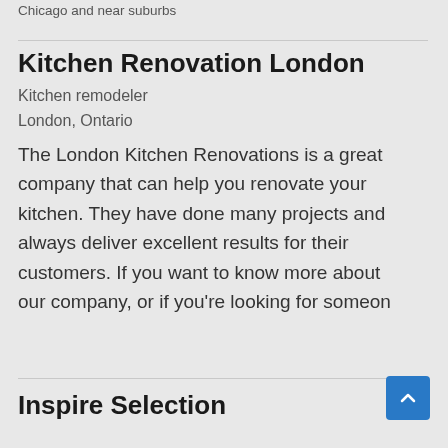Chicago and near suburbs
Kitchen Renovation London
Kitchen remodeler
London, Ontario
The London Kitchen Renovations is a great company that can help you renovate your kitchen. They have done many projects and always deliver excellent results for their customers. If you want to know more about our company, or if you're looking for someon
Inspire Selection